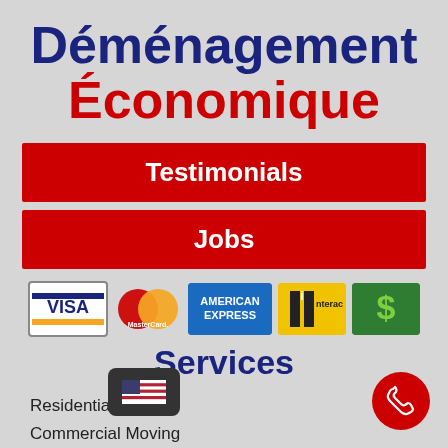Déménagement Économique
Testimonials
Jobs
[Figure (logo): Payment method logos: Visa, MasterCard, American Express, Interac, Cash]
Services
Residential Moving
Commercial Moving